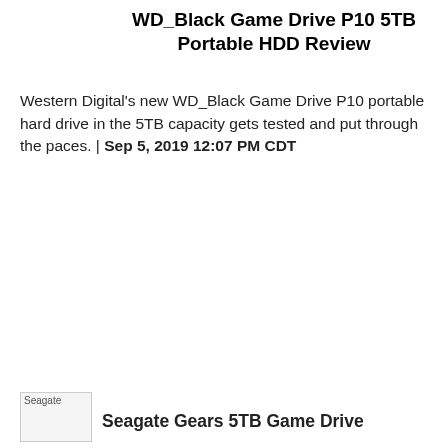WD_Black Game Drive P10 5TB Portable HDD Review
Western Digital's new WD_Black Game Drive P10 portable hard drive in the 5TB capacity gets tested and put through the paces. | Sep 5, 2019 12:07 PM CDT
[Figure (photo): Broken image placeholder labeled 'Seagate']
Seagate Gears 5TB Game Drive